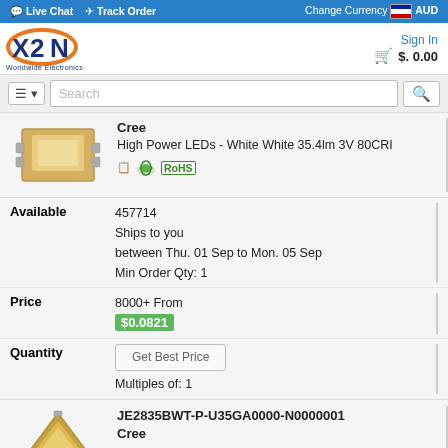Live Chat  Track Order  Change Currency AUD
[Figure (logo): XN Worldwide Electronics logo]
Sign In  $ 0.00
Search
[Figure (photo): LED chip product image - yellow/gold square SMD LED]
Cree
High Power LEDs - White White 35.4lm 3V 80CRI
[Figure (illustration): RoHS compliance badge with green leaf icon]
Available
457714
Ships to you
between Thu. 01 Sep to Mon. 05 Sep
Min Order Qty: 1
Price
8000+ From
$0.0821
Quantity
Get Best Price
Multiples of: 1
JE2835BWT-P-U35GA0000-N0000001
Cree
[Figure (photo): Second LED chip product image - triangular/diamond shaped gold LED]